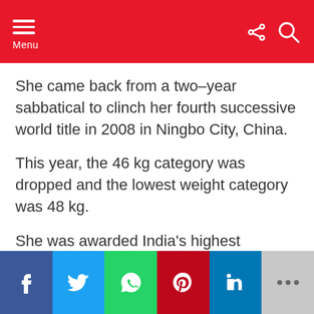Menu
She came back from a two–year sabbatical to clinch her fourth successive world title in 2008 in Ningbo City, China.
This year, the 46 kg category was dropped and the lowest weight category was 48 kg.
She was awarded India's highest sporting honour, the Rajiv Gandhi Khel Ratna, in 2009.
f  Twitter  WhatsApp  Pinterest  in  ...